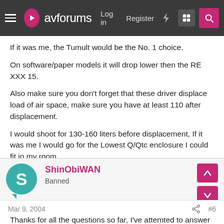avforums — Log in  Register
If it was me, the Tumult would be the No. 1 choice.
On software/paper models it will drop lower then the RE XXX 15.
Also make sure you don't forget that these driver displace load of air space, make sure you have at least 110 after displacement.
I would shoot for 130-160 liters before displacement, If it was me I would go for the Lowest Q/Qtc enclosure I could fit in my room.
ShinObiWAN
Banned
Mar 9, 2004   #6
Thanks for all the questions so far, I've attemted to answer them